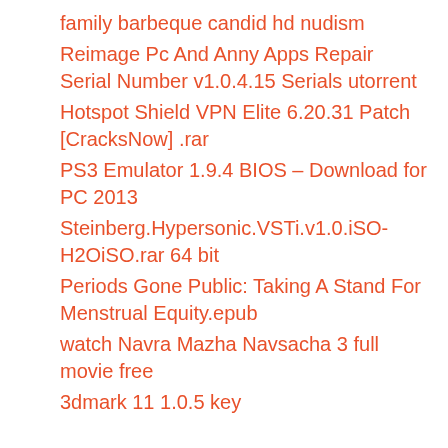family barbeque candid hd nudism
Reimage Pc And Anny Apps Repair Serial Number v1.0.4.15 Serials utorrent
Hotspot Shield VPN Elite 6.20.31 Patch [CracksNow] .rar
PS3 Emulator 1.9.4 BIOS – Download for PC 2013
Steinberg.Hypersonic.VSTi.v1.0.iSO-H2OiSO.rar 64 bit
Periods Gone Public: Taking A Stand For Menstrual Equity.epub
watch Navra Mazha Navsacha 3 full movie free
3dmark 11 1.0.5 key